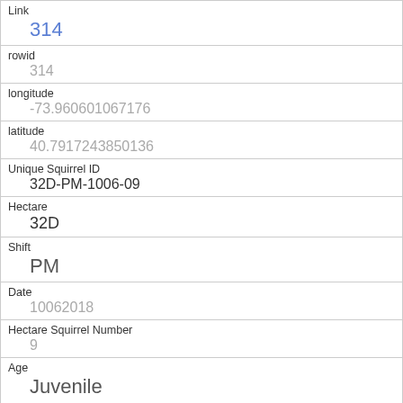| Link | 314 |
| rowid | 314 |
| longitude | -73.960601067176 |
| latitude | 40.7917243850136 |
| Unique Squirrel ID | 32D-PM-1006-09 |
| Hectare | 32D |
| Shift | PM |
| Date | 10062018 |
| Hectare Squirrel Number | 9 |
| Age | Juvenile |